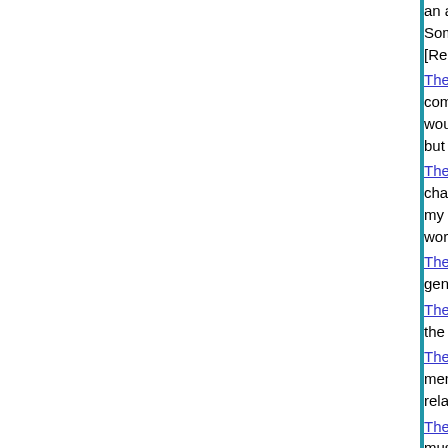an assistant. Emphasizes positive contributions. Sometimes our expectations of disabled people [Relationships]
The Best Grocery Shopping Experience Ever - communication story about my deaf friend Ri would think grocery shoping could be so much but read the story ... [1,572 words] [Relationships]
The Dish Star: Stories From Bay St. Louis, 2 - chance to work at a relief kitchen in Bay St. L my experiences for everyone to read. Good l words] [Relationships]
The General's Driver (Short Stories) About the general and his driver. [4,245 words]
The Human Part Of The Railroad (Essays) T the engineer. It's all the human part of railroad
The Letter (Short Stories) Instalment One. A memory cause Alex, a deaf man, and Julie, h relationship. For those of you who love confli
The Melanie Files (Children) This file has no musings from my encounters with my favorite [Relationships]
The Pursuit Of Happiness (Short Stories) A h course for the coming centuries as Thomas J Declaration of Independence. [1,102 words] [
The Railfan (Short Stories) Story 1. We mee railfan friend. Fever, basketball, a conference [Relationships]
The Stair Case (Short Stories) Aviation Story attend an airshow (which I haven't written, sh